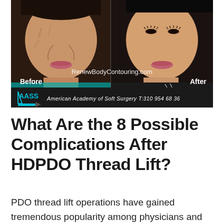[Figure (photo): Before and after comparison photo of a woman's face showing skin rejuvenation results. Left side labeled 'Before' shows more wrinkles, right side labeled 'After' shows smoother skin. Center watermark reads 'RenewBodyContouring.com'. Bottom black banner shows AASS logo and text 'American Academy of Soft Surgery T:310 954 68 36'.]
What Are the 8 Possible Complications After HDPDO Thread Lift?
PDO thread lift operations have gained tremendous popularity among physicians and patients in recent